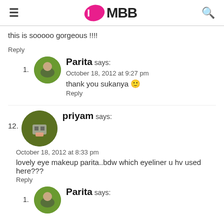IMBB
this is sooooo gorgeous !!!!
Reply
1. Parita says: October 18, 2012 at 9:27 pm
thank you sukanya 🙂
Reply
12. priyam says: October 18, 2012 at 8:33 pm
lovely eye makeup parita..bdw which eyeliner u hv used here???
Reply
1. Parita says: